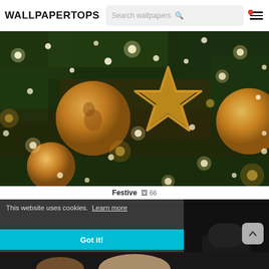WALLPAPERTOPS
[Figure (photo): Close-up photo of Christmas tree decorations: gold/orange ornament balls, a wooden star ornament, and bokeh string lights against dark green pine needles]
Festive  🖼️ 66
This website uses cookies.  Learn more
Got it!
[Figure (photo): Partially visible image at bottom showing a child in Christmas/Santa costume]